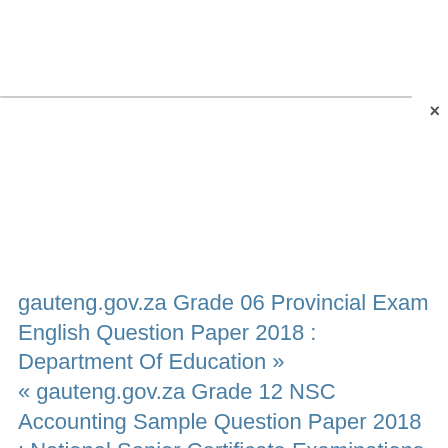gauteng.gov.za Grade 06 Provincial Exam English Question Paper 2018 : Department Of Education » « gauteng.gov.za Grade 12 NSC Accounting Sample Question Paper 2018 : National Senior Certificate Examinations